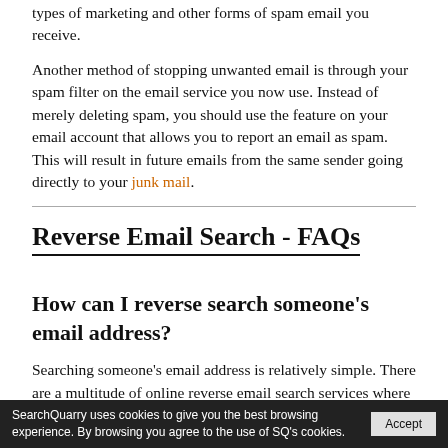types of marketing and other forms of spam email you receive.
Another method of stopping unwanted email is through your spam filter on the email service you now use. Instead of merely deleting spam, you should use the feature on your email account that allows you to report an email as spam. This will result in future emails from the same sender going directly to your junk mail.
Reverse Email Search - FAQs
How can I reverse search someone's email address?
Searching someone's email address is relatively simple. There are a multitude of online reverse email search services where you can enter an email address and find out who it's registered to. Once you have that information you can lookup additional public records on that person via public record websites.
SearchQuarry uses cookies to give you the best browsing experience. By browsing you agree to the use of SQ's cookies. Accept